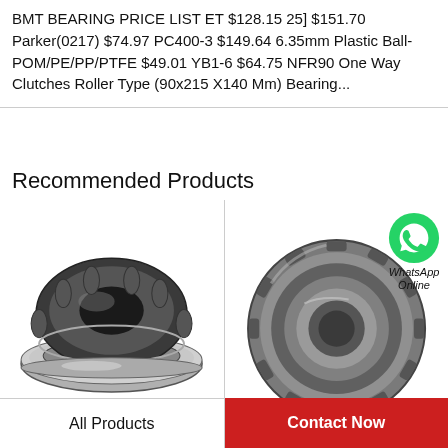BMT BEARING PRICE LIST ET $128.15 25] $151.70 Parker(0217) $74.97 PC400-3 $149.64 6.35mm Plastic Ball- POM/PE/PP/PTFE $49.01 YB1-6 $64.75 NFR90 One Way Clutches Roller Type (90x215 X140 Mm) Bearing...
Recommended Products
[Figure (photo): Thrust bearing with flat washer race shown from side angle, dark grey/black color]
[Figure (photo): Tapered roller bearing ring shown from front, dark grey metallic color, with WhatsApp Online badge overlay]
All Products
Contact Now